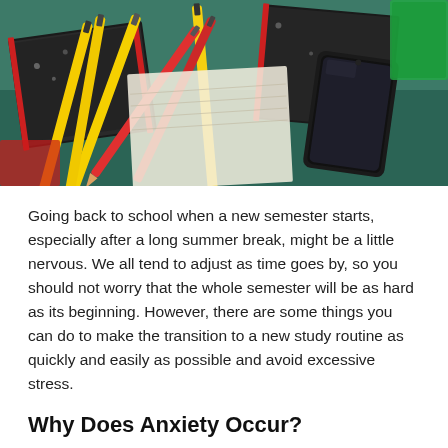[Figure (photo): Top-down photo of school supplies including colorful pencils, composition notebooks, and a smartphone on a blue-green textured surface.]
Going back to school when a new semester starts, especially after a long summer break, might be a little nervous. We all tend to adjust as time goes by, so you should not worry that the whole semester will be as hard as its beginning. However, there are some things you can do to make the transition to a new study routine as quickly and easily as possible and avoid excessive stress.
Why Does Anxiety Occur?
Whenever we face changes in our everyday routine, our brain has to get used to them, and it's not always a seamless process. After a long time with no homework, no